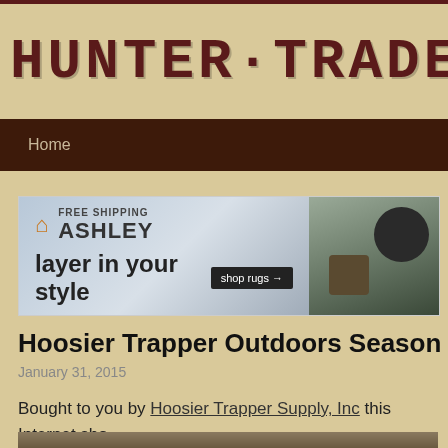HUNTER·TRADER·TR
Home
[Figure (screenshot): Ashley Furniture advertisement with 'FREE SHIPPING', 'layer in your style', 'shop rugs' button, and photo of home decor items]
Hoosier Trapper Outdoors Season One, E
January 31, 2015
Bought to you by Hoosier Trapper Supply, Inc this Internet sho strong. I'll be posting the episodes in the viewing room every Su
[Figure (photo): Partial thumbnail image at bottom of page]